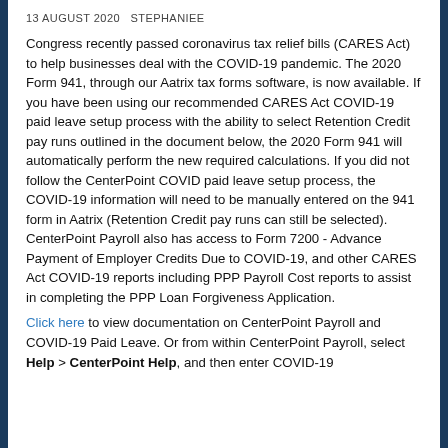13 AUGUST 2020   STEPHANIEE
Congress recently passed coronavirus tax relief bills (CARES Act) to help businesses deal with the COVID-19 pandemic. The 2020 Form 941, through our Aatrix tax forms software, is now available. If you have been using our recommended CARES Act COVID-19 paid leave setup process with the ability to select Retention Credit pay runs outlined in the document below, the 2020 Form 941 will automatically perform the new required calculations. If you did not follow the CenterPoint COVID paid leave setup process, the COVID-19 information will need to be manually entered on the 941 form in Aatrix (Retention Credit pay runs can still be selected). CenterPoint Payroll also has access to Form 7200 - Advance Payment of Employer Credits Due to COVID-19, and other CARES Act COVID-19 reports including PPP Payroll Cost reports to assist in completing the PPP Loan Forgiveness Application.
Click here to view documentation on CenterPoint Payroll and COVID-19 Paid Leave. Or from within CenterPoint Payroll, select Help > CenterPoint Help, and then enter COVID-19